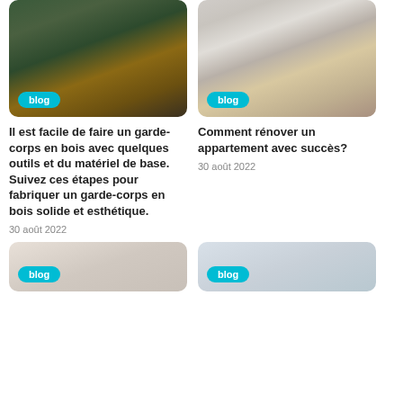[Figure (photo): Outdoor deck with BBQ grill and lounge furniture, string lights overhead, blog badge overlay]
[Figure (photo): Modern apartment interior with kitchen island and round dining table, blog badge overlay]
Il est facile de faire un garde-corps en bois avec quelques outils et du matériel de base. Suivez ces étapes pour fabriquer un garde-corps en bois solide et esthétique.
30 août 2022
Comment rénover un appartement avec succès?
30 août 2022
[Figure (photo): Partially visible photo at bottom left, blog badge overlay]
[Figure (photo): Partially visible photo at bottom right, blog badge overlay]